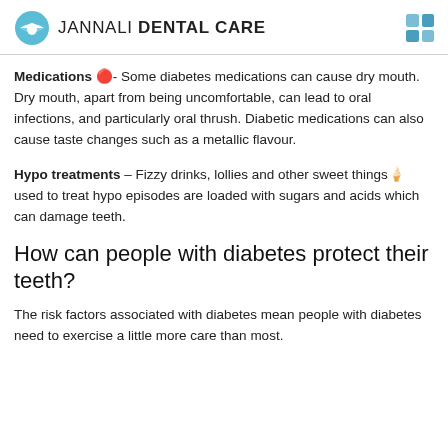JANNALI DENTAL CARE
Medications 💊- Some diabetes medications can cause dry mouth. Dry mouth, apart from being uncomfortable, can lead to oral infections, and particularly oral thrush. Diabetic medications can also cause taste changes such as a metallic flavour.
Hypo treatments – Fizzy drinks, lollies and other sweet things🍦 used to treat hypo episodes are loaded with sugars and acids which can damage teeth.
How can people with diabetes protect their teeth?
The risk factors associated with diabetes mean people with diabetes need to exercise a little more care than most.